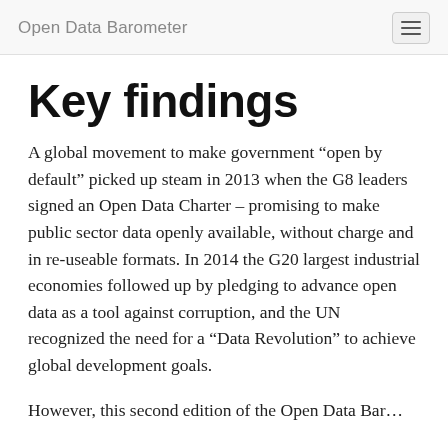Open Data Barometer
Key findings
A global movement to make government “open by default” picked up steam in 2013 when the G8 leaders signed an Open Data Charter – promising to make public sector data openly available, without charge and in re-useable formats. In 2014 the G20 largest industrial economies followed up by pledging to advance open data as a tool against corruption, and the UN recognized the need for a “Data Revolution” to achieve global development goals.
However, this second edition of the Open Data Barometer shows that the crisis still shows up to